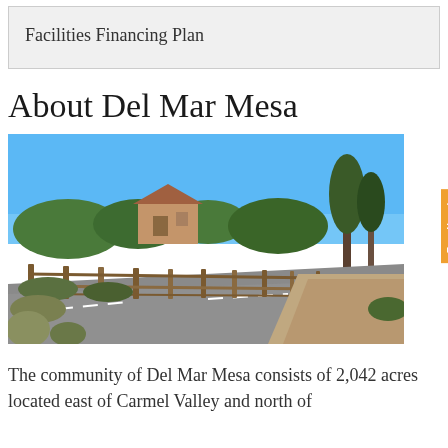Facilities Financing Plan
About Del Mar Mesa
[Figure (photo): Street view photo of Del Mar Mesa community showing a road with wooden rail fence, green landscaping, trees, and residential buildings under a blue sky]
The community of Del Mar Mesa consists of 2,042 acres located east of Carmel Valley and north of